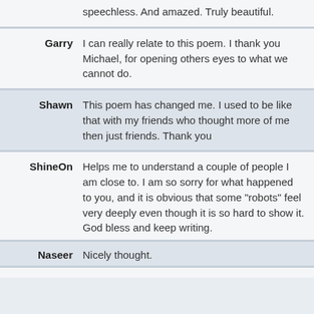speechless. And amazed. Truly beautiful.
Garry: I can really relate to this poem. I thank you Michael, for opening others eyes to what we cannot do.
Shawn: This poem has changed me. I used to be like that with my friends who thought more of me then just friends. Thank you
ShineOn: Helps me to understand a couple of people I am close to. I am so sorry for what happened to you, and it is obvious that some "robots" feel very deeply even though it is so hard to show it. God bless and keep writing.
Naseer: Nicely thought.